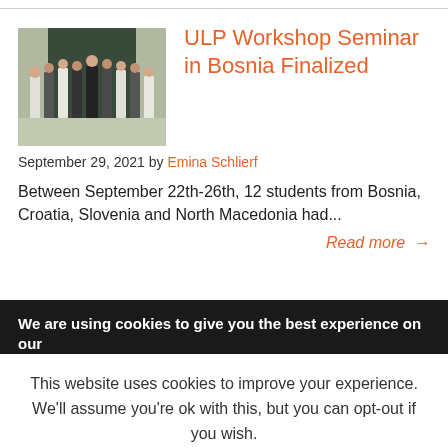[Figure (photo): Group photo of approximately 12 students standing outside in front of a dark door]
ULP Workshop Seminar in Bosnia Finalized
September 29, 2021 by Emina Schlierf
Between September 22th-26th, 12 students from Bosnia, Croatia, Slovenia and North Macedonia had...
Read more →
[Figure (photo): Partial image of next article thumbnail]
We are using cookies to give you the best experience on our
This website uses cookies to improve your experience. We'll assume you're ok with this, but you can opt-out if you wish.
Cookie settings
ACCEPT